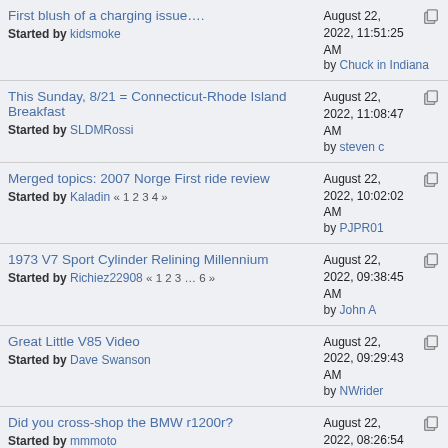| Topic | Last Post |
| --- | --- |
| First blush of a charging issue….
Started by kidsmoke | August 22, 2022, 11:51:25 AM
by Chuck in Indiana |
| This Sunday, 8/21 = Connecticut-Rhode Island Breakfast
Started by SLDMRossi | August 22, 2022, 11:08:47 AM
by steven c |
| Merged topics: 2007 Norge First ride review
Started by Kaladin « 1 2 3 4 » | August 22, 2022, 10:02:02 AM
by PJPR01 |
| 1973 V7 Sport Cylinder Relining Millennium
Started by Richiez22908 « 1 2 3 … 6 » | August 22, 2022, 09:38:45 AM
by John A |
| Great Little V85 Video
Started by Dave Swanson | August 22, 2022, 09:29:43 AM
by NWrider |
| Did you cross-shop the BMW r1200r?
Started by mmmoto | August 22, 2022, 08:26:54 AM
by mechanicsavant |
| UPDATE! DATE CHANGE Guzzi meet and greet CAMPOUT. Oct 21-23 2022
Started by bobrebos1 | August 22, 2022, 02:50:38 AM
by bobrebos1 |